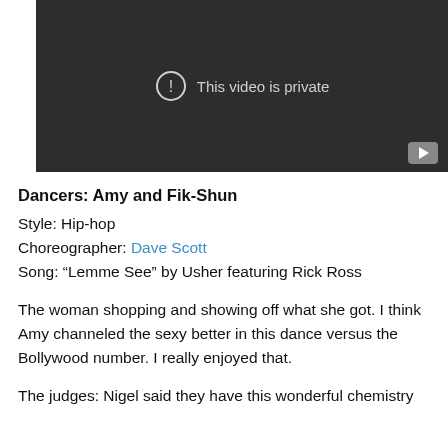[Figure (screenshot): YouTube embedded video player showing 'This video is private' message with exclamation icon on dark background and YouTube logo button in bottom right corner.]
Dancers: Amy and Fik-Shun
Style: Hip-hop
Choreographer: Dave Scott
Song: “Lemme See” by Usher featuring Rick Ross
The woman shopping and showing off what she got. I think Amy channeled the sexy better in this dance versus the Bollywood number. I really enjoyed that.
The judges: Nigel said they have this wonderful chemistry